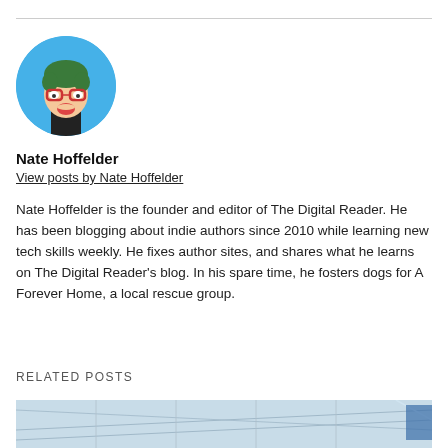[Figure (illustration): Circular avatar of Nate Hoffelder, a cartoon character with green hair and glasses on a light blue background]
Nate Hoffelder
View posts by Nate Hoffelder
Nate Hoffelder is the founder and editor of The Digital Reader. He has been blogging about indie authors since 2010 while learning new tech skills weekly. He fixes author sites, and shares what he learns on The Digital Reader's blog. In his spare time, he fosters dogs for A Forever Home, a local rescue group.
RELATED POSTS
[Figure (photo): Partial photo of what appears to be a retail or warehouse interior with ceiling structures visible]